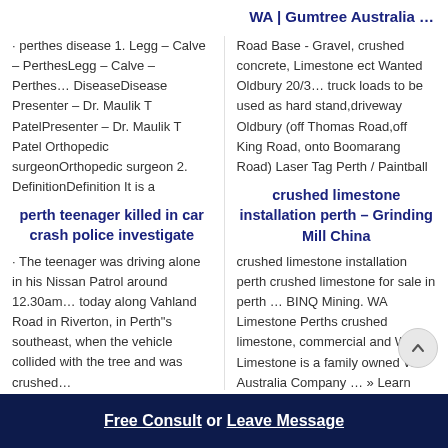WA | Gumtree Australia …
· perthes disease 1. Legg – Calve – PerthesLegg – Calve – Perthes… DiseaseDisease Presenter – Dr. Maulik T PatelPresenter – Dr. Maulik T Patel Orthopedic surgeonOrthopedic surgeon 2. DefinitionDefinition It is a
Road Base - Gravel, crushed concrete, Limestone ect Wanted Oldbury 20/3… truck loads to be used as hard stand,driveway Oldbury (off Thomas Road,off King Road, onto Boomarang Road) Laser Tag Perth / Paintball
perth teenager killed in car crash police investigate
crushed limestone installation perth – Grinding Mill China
· The teenager was driving alone in his Nissan Patrol around 12.30am… today along Vahland Road in Riverton, in Perth"s southeast, when the vehicle collided with the tree and was crushed…
crushed limestone installation perth crushed limestone for sale in perth … BINQ Mining. WA Limestone Perths crushed limestone, commercial and WA Limestone is a family owned WA Australia Company … » Learn
Free Consult  or  Leave Message